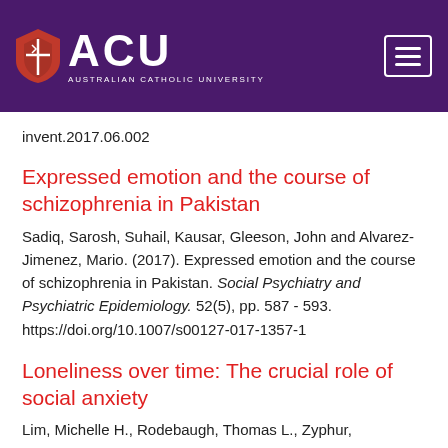ACU - Australian Catholic University
invent.2017.06.002
Expressed emotion and the course of schizophrenia in Pakistan
Sadiq, Sarosh, Suhail, Kausar, Gleeson, John and Alvarez-Jimenez, Mario. (2017). Expressed emotion and the course of schizophrenia in Pakistan. Social Psychiatry and Psychiatric Epidemiology. 52(5), pp. 587 - 593. https://doi.org/10.1007/s00127-017-1357-1
Loneliness over time: The crucial role of social anxiety
Lim, Michelle H., Rodebaugh, Thomas L., Zyphur,